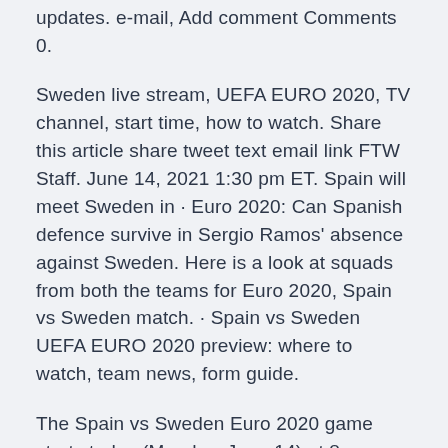updates. e-mail, Add comment Comments 0.
Sweden live stream, UEFA EURO 2020, TV channel, start time, how to watch. Share this article share tweet text email link FTW Staff. June 14, 2021 1:30 pm ET. Spain will meet Sweden in · Euro 2020: Can Spanish defence survive in Sergio Ramos' absence against Sweden. Here is a look at squads from both the teams for Euro 2020, Spain vs Sweden match. · Spain vs Sweden UEFA EURO 2020 preview: where to watch, team news, form guide.
The Spain vs Sweden Euro 2020 game starts today (Monday, June 14) at 8 p.m.